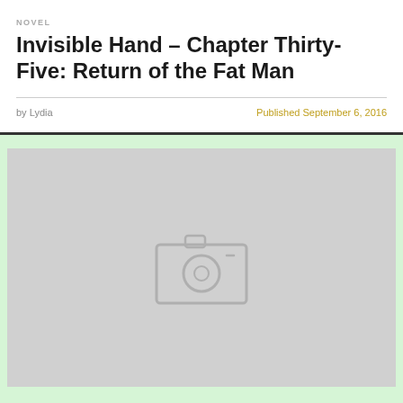NOVEL
Invisible Hand – Chapter Thirty-Five: Return of the Fat Man
by Lydia
Published September 6, 2016
[Figure (photo): A gray placeholder image area with a faint camera/image icon in the center, indicating a loading or missing image.]